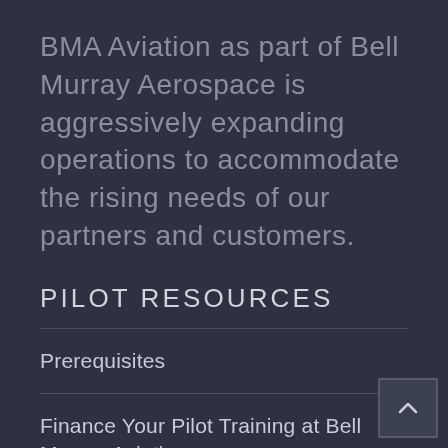BMA Aviation as part of Bell Murray Aerospace is aggressively expanding operations to accommodate the rising needs of our partners and customers.
PILOT RESOURCES
Prerequisites
Finance Your Pilot Training at Bell Murray Aviation
Non U.S. Students